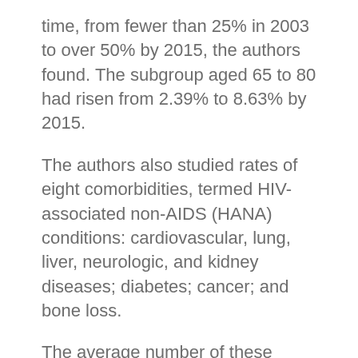time, from fewer than 25% in 2003 to over 50% by 2015, the authors found. The subgroup aged 65 to 80 had risen from 2.39% to 8.63% by 2015.
The authors also studied rates of eight comorbidities, termed HIV-associated non-AIDS (HANA) conditions: cardiovascular, lung, liver, neurologic, and kidney diseases; diabetes; cancer; and bone loss.
The average number of these conditions among both HSWH and HSWOH rose over time. But this change was disproportionately high among HSWH aged 50 to 64 and those aged 65 and older.
Over the study period, among patients aged 65 or older, six of the eight age-related conditions